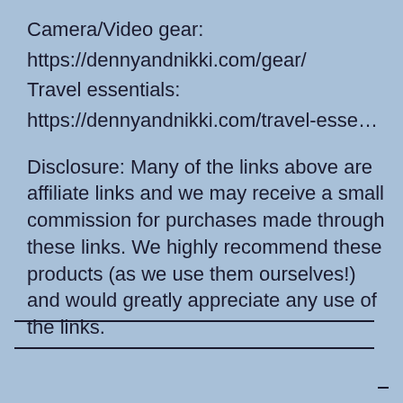Camera/Video gear:
https://dennyandnikki.com/gear/
Travel essentials:
https://dennyandnikki.com/travel-esse…
Disclosure: Many of the links above are affiliate links and we may receive a small commission for purchases made through these links. We highly recommend these products (as we use them ourselves!) and would greatly appreciate any use of the links.